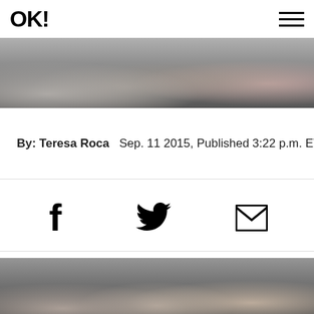OK!
[Figure (photo): A group of people standing together, partial view of bodies in casual clothing including white and pink shirts]
By: Teresa Roca   Sep. 11 2015, Published 3:22 p.m. ET
[Figure (infographic): Social sharing icons: Facebook, Twitter, Email]
[Figure (photo): Three young girls smiling at camera, one with a yellow flower hair accessory, blonde and brunette hair]